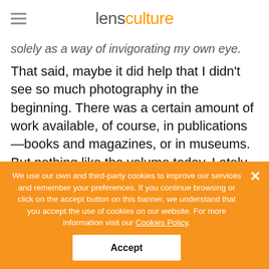lens culture
solely as a way of invigorating my own eye.
That said, maybe it did help that I didn't see so much photography in the beginning. There was a certain amount of work available, of course, in publications—books and magazines, or in museums. But nothing like the volume today. Lately, I've visited faraway places and been stunned by how much people have seen via the internet. A lot of the time, they don't even remember who made a photograph or a body of work—but still, they've seen an image, and it registers as part of their vocabulary.
We use our own and third-party cookies to improve our services and remember your preferences. If you continue browsing or click on the accept button on this banner, we understand that you accept the use of cookies on our website. For more information visit our Cookies Policy.
Accept